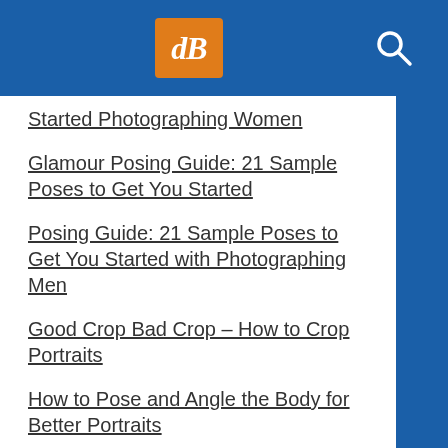[Figure (logo): dPS logo - orange square with white italic dB letters, on blue header bar with search icon]
Started Photographing Women
Glamour Posing Guide: 21 Sample Poses to Get You Started
Posing Guide: 21 Sample Poses to Get You Started with Photographing Men
Good Crop Bad Crop – How to Crop Portraits
How to Pose and Angle the Body for Better Portraits
Posing Guide: 21 Sample Poses to Get You Started with Photographing Groups of People
Posing Guide: 21 Sample Poses to Get You